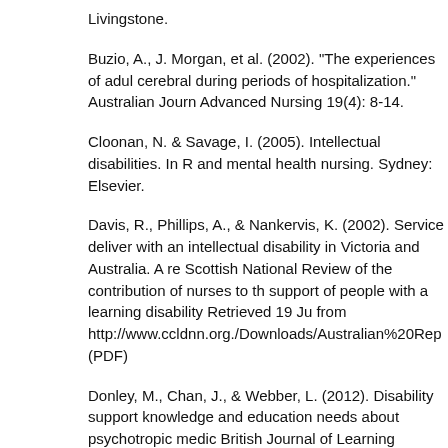Livingstone.
Buzio, A., J. Morgan, et al. (2002). "The experiences of adul cerebral during periods of hospitalization." Australian Journ Advanced Nursing 19(4): 8-14.
Cloonan, N. & Savage, I. (2005). Intellectual disabilities. In R and mental health nursing. Sydney: Elsevier.
Davis, R., Phillips, A., & Nankervis, K. (2002). Service deliver with an intellectual disability in Victoria and Australia. A re Scottish National Review of the contribution of nurses to th support of people with a learning disability Retrieved 19 Ju from http://www.ccldnn.org./Downloads/Australian%20Rep (PDF)
Donley, M., Chan, J., & Webber, L. (2012). Disability support knowledge and education needs about psychotropic medic British Journal of Learning Disabilities, 40(4), 286-291.
Evans, J. & Gallagher, S. (2009). Developmental and intell...